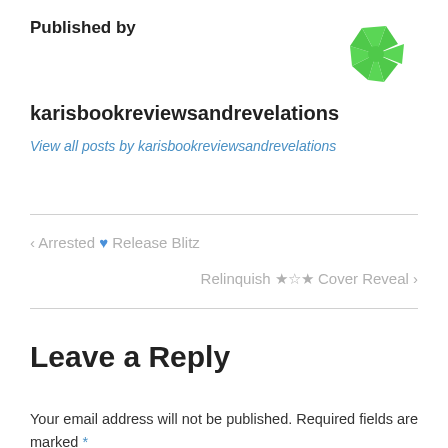Published by
[Figure (logo): Green spiky star/snowflake logo mark for WordPress or blog platform]
karisbookreviewsandrevelations
View all posts by karisbookreviewsandrevelations
‹ Arrested 💙 Release Blitz
Relinquish ★☆★ Cover Reveal ›
Leave a Reply
Your email address will not be published. Required fields are marked *